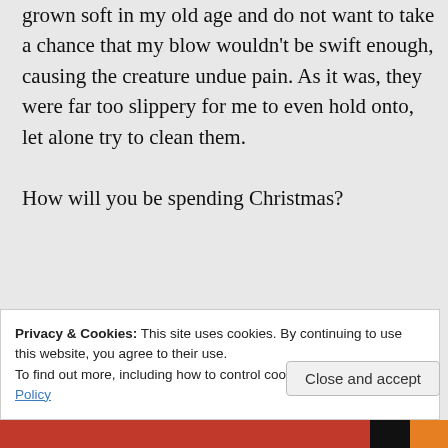grown soft in my old age and do not want to take a chance that my blow wouldn't be swift enough, causing the creature undue pain. As it was, they were far too slippery for me to even hold onto, let alone try to clean them.
How will you be spending Christmas?
★ Like
↳ Reply
Privacy & Cookies: This site uses cookies. By continuing to use this website, you agree to their use.
To find out more, including how to control cookies, see here: Cookie Policy
Close and accept